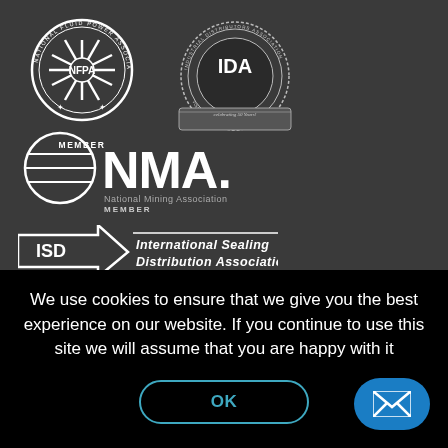[Figure (logo): NFPA National Fluid Power Association Member badge logo]
[Figure (logo): IDA Industrial Distributors Association celebrating 50 years badge logo]
[Figure (logo): NMA National Mining Association Member logo]
[Figure (logo): ISD International Sealing Distribution Association logo]
We use cookies to ensure that we give you the best experience on our website. If you continue to use this site we will assume that you are happy with it
[Figure (other): OK button with teal border on cookie consent banner]
[Figure (other): Blue rounded email/contact button with envelope icon in bottom right corner]